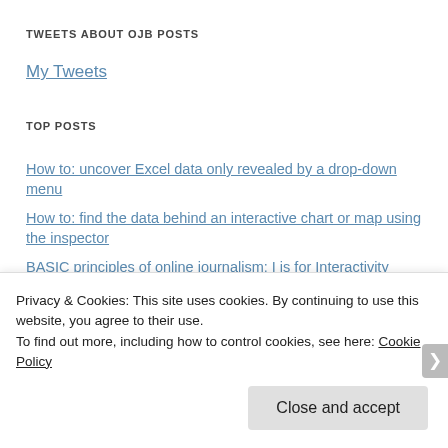TWEETS ABOUT OJB POSTS
My Tweets
TOP POSTS
How to: uncover Excel data only revealed by a drop-down menu
How to: find the data behind an interactive chart or map using the inspector
BASIC principles of online journalism: I is for Interactivity
How to embed a vertical video from YouTube or Vimeo
Privacy & Cookies: This site uses cookies. By continuing to use this website, you agree to their use.
To find out more, including how to control cookies, see here: Cookie Policy
Close and accept